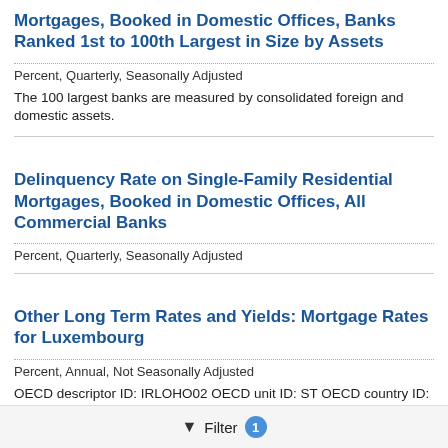Mortgages, Booked in Domestic Offices, Banks Ranked 1st to 100th Largest in Size by Assets
Percent, Quarterly, Seasonally Adjusted
The 100 largest banks are measured by consolidated foreign and domestic assets.
Delinquency Rate on Single-Family Residential Mortgages, Booked in Domestic Offices, All Commercial Banks
Percent, Quarterly, Seasonally Adjusted
Other Long Term Rates and Yields: Mortgage Rates for Luxembourg
Percent, Annual, Not Seasonally Adjusted
OECD descriptor ID: IRLOHO02 OECD unit ID: ST OECD country ID: LUX All OECD data should be cited as follows: OECD, "Main Economic
Filter 1